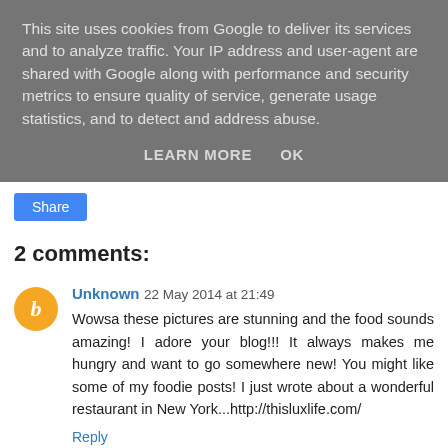This site uses cookies from Google to deliver its services and to analyze traffic. Your IP address and user-agent are shared with Google along with performance and security metrics to ensure quality of service, generate usage statistics, and to detect and address abuse.
LEARN MORE   OK
[Figure (other): Share button (blue rounded rectangle)]
2 comments:
Unknown  22 May 2014 at 21:49
Wowsa these pictures are stunning and the food sounds amazing! I adore your blog!!! It always makes me hungry and want to go somewhere new! You might like some of my foodie posts! I just wrote about a wonderful restaurant in New York...http://thisluxlife.com/
Reply